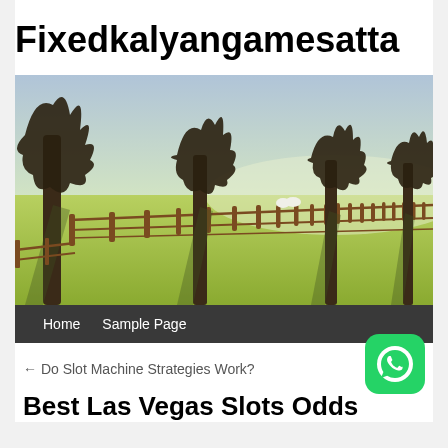Fixedkalyangamesatta
[Figure (photo): Landscape photo showing a row of tall bare trees along a wooden fence in a sunlit green field, with two white sheep visible in the background.]
Home   Sample Page
← Do Slot Machine Strategies Work?
Best Las Vegas Slots Odds
[Figure (logo): WhatsApp logo button — green rounded square with white phone/chat icon]